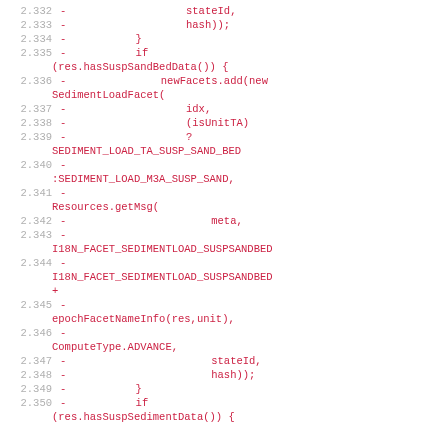Code diff showing Java source lines 2.332–2.350 with removed lines (marked -) related to SedimentLoad facet construction
2.332 -                   stateId,
2.333 -                   hash));
2.334 -           }
2.335 -           if (res.hasSuspSandBedData()) {
2.336 -               newFacets.add(new SedimentLoadFacet(
2.337 -                   idx,
2.338 -                   (isUnitTA)
2.339 -                   ? SEDIMENT_LOAD_TA_SUSP_SAND_BED
2.340 -                   :SEDIMENT_LOAD_M3A_SUSP_SAND,
2.341 -                   Resources.getMsg(
2.342 -                       meta,
2.343 -                       I18N_FACET_SEDIMENTLOAD_SUSPSANDBED
2.344 -                       I18N_FACET_SEDIMENTLOAD_SUSPSANDBED +
2.345 -                   epochFacetNameInfo(res,unit),
2.346 -                   ComputeType.ADVANCE,
2.347 -                       stateId,
2.348 -                       hash));
2.349 -           }
2.350 -           if (res.hasSuspSedimentData()) {